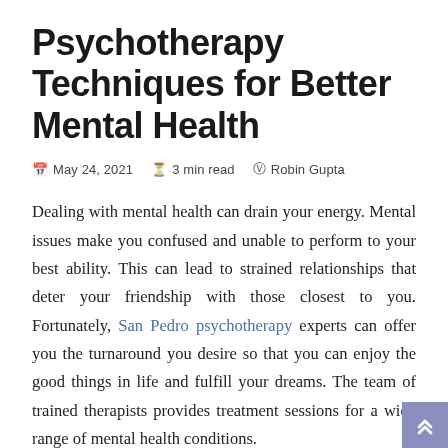Psychotherapy Techniques for Better Mental Health
May 24, 2021  3 min read  Robin Gupta
Dealing with mental health can drain your energy. Mental issues make you confused and unable to perform to your best ability. This can lead to strained relationships that deter your friendship with those closest to you. Fortunately, San Pedro psychotherapy experts can offer you the turnaround you desire so that you can enjoy the good things in life and fulfill your dreams. The team of trained therapists provides treatment sessions for a wide range of mental health conditions.
Psychotherapy 101